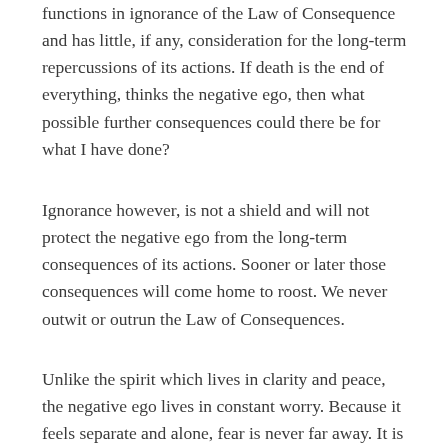functions in ignorance of the Law of Consequence and has little, if any, consideration for the long-term repercussions of its actions. If death is the end of everything, thinks the negative ego, then what possible further consequences could there be for what I have done?
Ignorance however, is not a shield and will not protect the negative ego from the long-term consequences of its actions. Sooner or later those consequences will come home to roost. We never outwit or outrun the Law of Consequences.
Unlike the spirit which lives in clarity and peace, the negative ego lives in constant worry. Because it feels separate and alone, fear is never far away. It is the first emotion the negative ego feels when it faces the unknown. The spirit, on the other hand, has a conscious realization of its own eternal continuity. It is centered in the Divine light. The real challenge of life is to find that center.